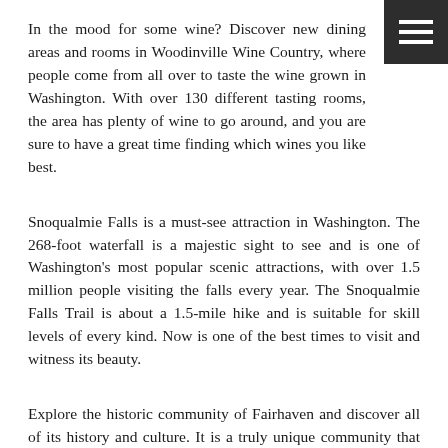In the mood for some wine? Discover new dining areas and rooms in Woodinville Wine Country, where people come from all over to taste the wine grown in Washington. With over 130 different tasting rooms, the area has plenty of wine to go around, and you are sure to have a great time finding which wines you like best.
Snoqualmie Falls is a must-see attraction in Washington. The 268-foot waterfall is a majestic sight to see and is one of Washington's most popular scenic attractions, with over 1.5 million people visiting the falls every year. The Snoqualmie Falls Trail is about a 1.5-mile hike and is suitable for skill levels of every kind. Now is one of the best times to visit and witness its beauty.
Explore the historic community of Fairhaven and discover all of its history and culture. It is a truly unique community that puts a modern spin on a historic area. There is so much to discover in the historic district of Fairhaven, including restaurants, art galleries, shops, historic Victorian buildings. You are sure to uncover some incredible landmark